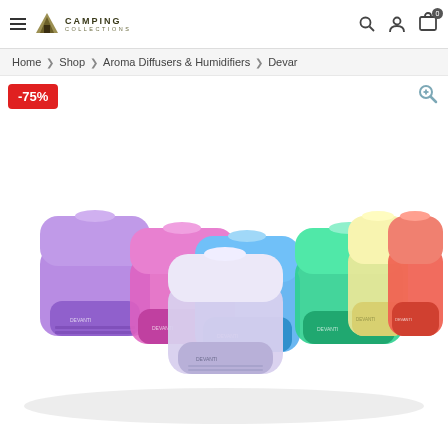Camping Collections — navigation header with hamburger menu, logo, search, user, and cart icons
Home > Shop > Aroma Diffusers & Humidifiers > Devan
-75%
[Figure (photo): Seven aroma diffuser/humidifier devices arranged in a row, each glowing a different color: purple, pink/magenta, blue, lavender/white, green/teal, pale yellow, and red/coral. All devices are the same rounded square shape with the brand name visible.]